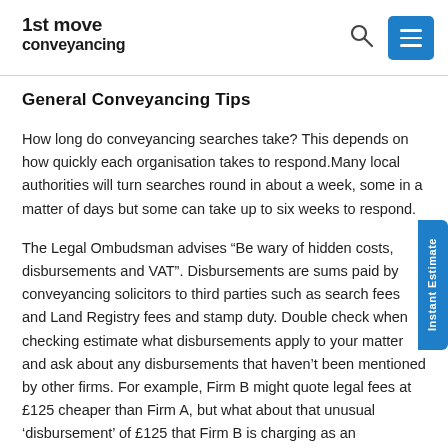1st move conveyancing
General Conveyancing Tips
How long do conveyancing searches take? This depends on how quickly each organisation takes to respond.Many local authorities will turn searches round in about a week, some in a matter of days but some can take up to six weeks to respond.
The Legal Ombudsman advises “Be wary of hidden costs, disbursements and VAT”. Disbursements are sums paid by conveyancing solicitors to third parties such as search fees and Land Registry fees and stamp duty. Double check when checking estimate what disbursements apply to your matter and ask about any disbursements that haven’t been mentioned by other firms. For example, Firm B might quote legal fees at £125 cheaper than Firm A, but what about that unusual ‘disbursement’ of £125 that Firm B is charging as an ‘expedition fee’? In practice it may not really be a disbursement at all, but might be a way of Firm B making their overall quote sound more competitive by adding on costs